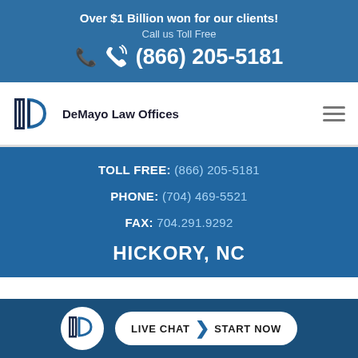Over $1 Billion won for our clients!
Call us Toll Free
(866) 205-5181
[Figure (logo): DeMayo Law Offices logo with column and D shape]
TOLL FREE: (866) 205-5181
PHONE: (704) 469-5521
FAX: 704.291.9292
HICKORY, NC
LIVE CHAT  START NOW